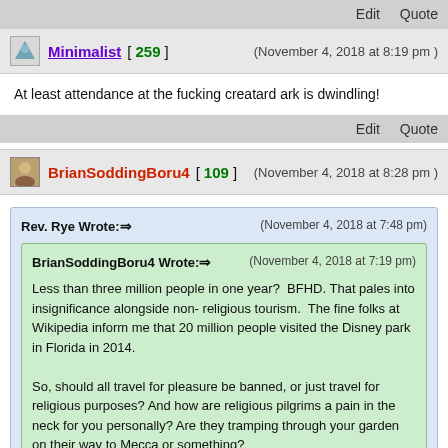Edit   Quote
Minimalist [ 259 ]   (November 4, 2018 at 8:19 pm )
At least attendance at the fucking creatard ark is dwindling!
Edit   Quote
BrianSoddingBoru4 [ 109 ]   (November 4, 2018 at 8:28 pm )
Rev. Rye Wrote:=> (November 4, 2018 at 7:48 pm) BrianSoddingBoru4 Wrote:=> (November 4, 2018 at 7:19 pm) Less than three million people in one year? BFHD. That pales into insignificance alongside non- religious tourism. The fine folks at Wikipedia inform me that 20 million people visited the Disney park in Florida in 2014.

So, should all travel for pleasure be banned, or just travel for religious purposes? And how are religious pilgrims a pain in the neck for you personally? Are they tramping through your garden on their way to Mecca or something?

Boru